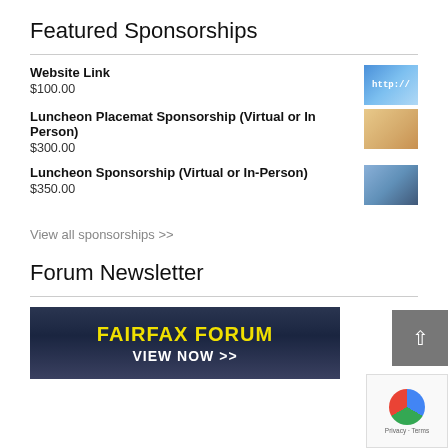Featured Sponsorships
Website Link
$100.00
Luncheon Placemat Sponsorship (Virtual or In Person)
$300.00
Luncheon Sponsorship (Virtual or In-Person)
$350.00
View all sponsorships >>
Forum Newsletter
[Figure (photo): Fairfax Forum newsletter banner with yellow text 'FAIRFAX FORUM' and white text 'VIEW NOW >>' on a dark blue background with a cityscape silhouette]